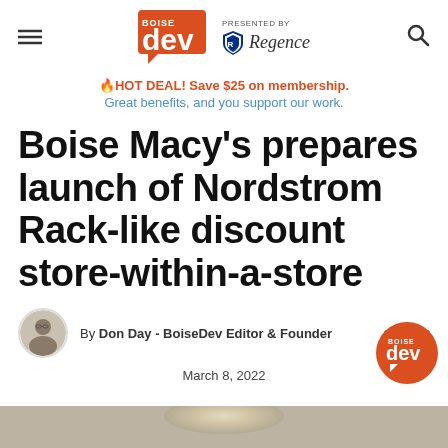BoiseDev — Presented by Regence
🔥HOT DEAL! Save $25 on membership. Great benefits, and you support our work.
Boise Macy's prepares launch of Nordstrom Rack-like discount store-within-a-store
By Don Day - BoiseDev Editor & Founder
March 8, 2022
[Figure (photo): Bottom edge of article page showing a bright light in a store setting]